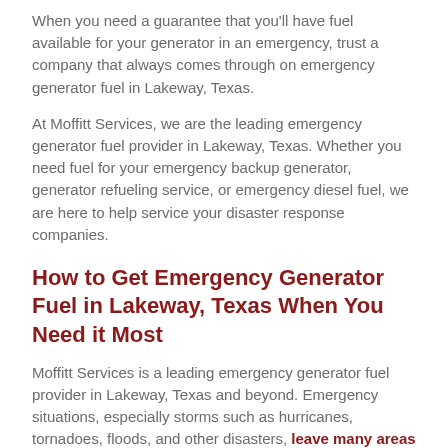When you need a guarantee that you'll have fuel available for your generator in an emergency, trust a company that always comes through on emergency generator fuel in Lakeway, Texas.
At Moffitt Services, we are the leading emergency generator fuel provider in Lakeway, Texas. Whether you need fuel for your emergency backup generator, generator refueling service, or emergency diesel fuel, we are here to help service your disaster response companies.
How to Get Emergency Generator Fuel in Lakeway, Texas When You Need it Most
Moffitt Services is a leading emergency generator fuel provider in Lakeway, Texas and beyond. Emergency situations, especially storms such as hurricanes, tornadoes, floods, and other disasters, leave many areas in a state of devastation and without necessary